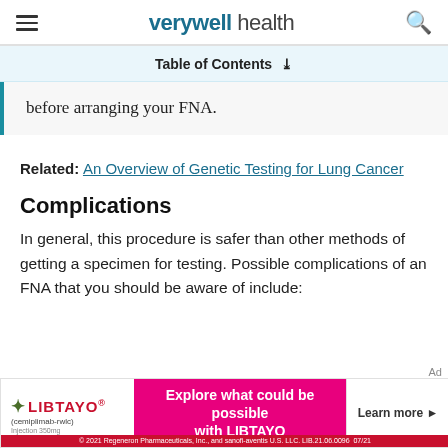verywell health
Table of Contents
before arranging your FNA.
Related: An Overview of Genetic Testing for Lung Cancer
Complications
In general, this procedure is safer than other methods of getting a specimen for testing. Possible complications of an FNA that you should be aware of include:
[Figure (other): LIBTAYO advertisement banner: 'Explore what could be possible with LIBTAYO' with Learn more button. © 2021 Regeneron Pharmaceuticals, Inc., and sanofi-aventis U.S. LLC. LIB.21.06.0096 07/21]